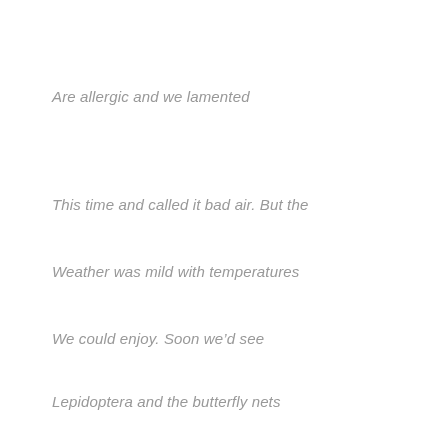Are allergic and we lamented
This time and called it bad air. But the
Weather was mild with temperatures
We could enjoy. Soon we'd see
Lepidoptera and the butterfly nets